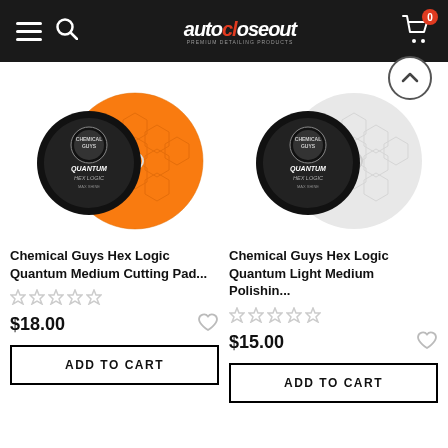autocloseout navigation bar with logo, search, and cart
[Figure (photo): Chemical Guys Hex Logic Quantum Medium Cutting Pad - orange hexagonal foam polishing pad with black backing]
Chemical Guys Hex Logic Quantum Medium Cutting Pad...
$18.00
ADD TO CART
[Figure (photo): Chemical Guys Hex Logic Quantum Light Medium Polishing Pad - white hexagonal foam polishing pad with black backing]
Chemical Guys Hex Logic Quantum Light Medium Polishin...
$15.00
ADD TO CART